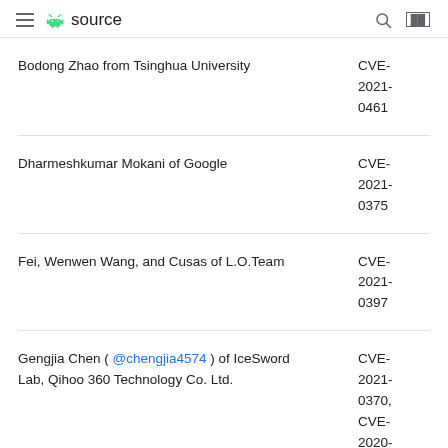≡ android source  🔍 ██
| Researcher | CVE |
| --- | --- |
| Bodong Zhao from Tsinghua University | CVE-2021-0461 |
| Dharmeshkumar Mokani of Google | CVE-2021-0375 |
| Fei, Wenwen Wang, and Cusas of L.O.Team | CVE-2021-0397 |
| Gengjia Chen ( @chengjia4574 ) of IceSword Lab, Qihoo 360 Technology Co. Ltd. | CVE-2021-0370, CVE-2020- |